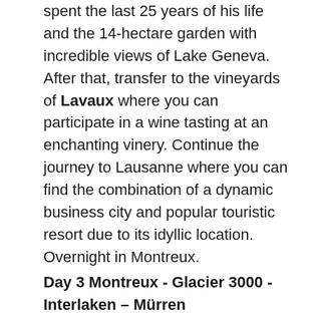spent the last 25 years of his life and the 14-hectare garden with incredible views of Lake Geneva. After that, transfer to the vineyards of Lavaux where you can participate in a wine tasting at an enchanting vinery. Continue the journey to Lausanne where you can find the combination of a dynamic business city and popular touristic resort due to its idyllic location. Overnight in Montreux.
Day 3 Montreux - Glacier 3000 - Interlaken – Mürren
Take an excursion to Glacier 3000. Go up with the cable car and enjoy an overwhelming view of 24 peaks over 4000 meters completely covered with snow. Your view reaches from the mountains Eiger, Mönch and Jungfrau until Mount Cervino and the Mont-Blanc. Walk over the first hanging bridge that unites two different peaks or take a toboggan ride – adventure is guaranteed! Continue your journey…